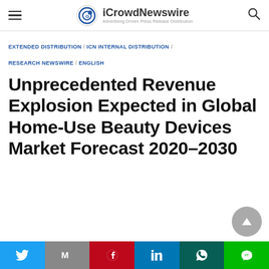iCrowdNewswire — Advertising Driven Press Release Distribution
EXTENDED DISTRIBUTION / ICN INTERNAL DISTRIBUTION / RESEARCH NEWSWIRE / ENGLISH
Unprecedented Revenue Explosion Expected in Global Home-Use Beauty Devices Market Forecast 2020–2030